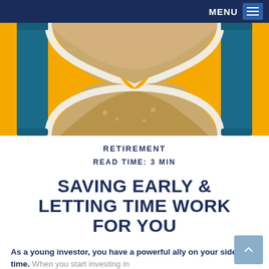MENU
[Figure (illustration): Close-up illustration of an hourglass with sand, teal/blue frame, on a yellow/golden background. The hourglass shows sand flowing through the middle pinch point.]
RETIREMENT
READ TIME: 3 MIN
SAVING EARLY & LETTING TIME WORK FOR YOU
As a young investor, you have a powerful ally on your side: time. When you start investing in